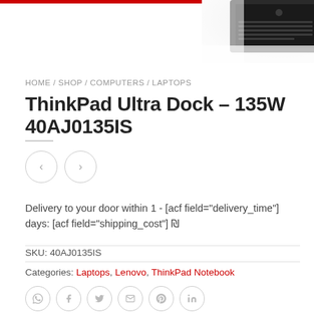[Figure (photo): Partial view of a dark laptop keyboard in the top-right corner of the page]
HOME / SHOP / COMPUTERS / LAPTOPS
ThinkPad Ultra Dock – 135W 40AJ0135IS
Delivery to your door within 1 - [acf field="delivery_time"] days: [acf field="shipping_cost"] ₪
SKU: 40AJ0135IS
Categories: Laptops, Lenovo, ThinkPad Notebook